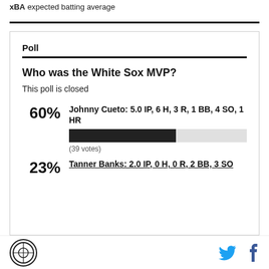xBA expected batting average
Poll
Who was the White Sox MVP?
This poll is closed
[Figure (bar-chart): Poll results]